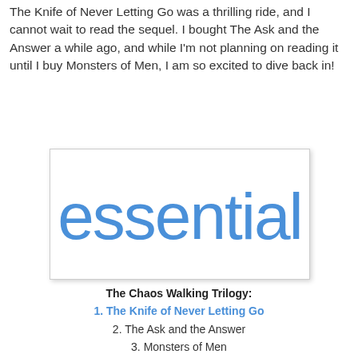The Knife of Never Letting Go was a thrilling ride, and I cannot wait to read the sequel. I bought The Ask and the Answer a while ago, and while I'm not planning on reading it until I buy Monsters of Men, I am so excited to dive back in!
[Figure (logo): White box with the word 'essential' written in a hand-drawn blue font style]
The Chaos Walking Trilogy:
1. The Knife of Never Letting Go
2. The Ask and the Answer
3. Monsters of Men